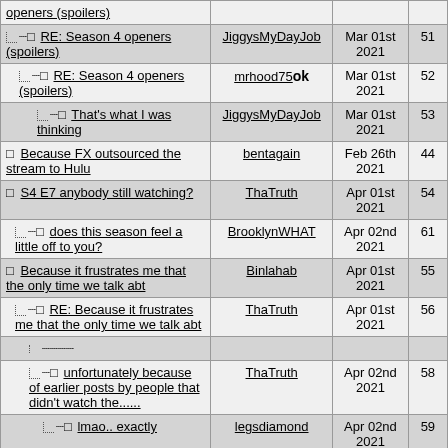| Thread | Author | Date | # |
| --- | --- | --- | --- |
| openers (spoilers) |  |  |  |
| RE: Season 4 openers (spoilers) | JiggysMyDayJob | Mar 01st 2021 | 51 |
| RE: Season 4 openers (spoilers) | mrhood75 ok | Mar 01st 2021 | 52 |
| That's what I was thinking | JiggysMyDayJob | Mar 01st 2021 | 53 |
| Because FX outsourced the stream to Hulu | bentagain | Feb 26th 2021 | 44 |
| S4 E7 anybody still watching? | ThaTruth | Apr 01st 2021 | 54 |
| does this season feel a little off to you? | BrooklynWHAT | Apr 02nd 2021 | 61 |
| Because it frustrates me that the only time we talk abt | Binlahab | Apr 01st 2021 | 55 |
| RE: Because it frustrates me that the only time we talk abt | ThaTruth | Apr 01st 2021 | 56 |
| (collapsed) |  |  |  |
| unfortunately because of earlier posts by people that didn't watch the...... | ThaTruth | Apr 02nd 2021 | 58 |
| lmao.. exactly | legsdiamond | Apr 02nd 2021 | 59 |
| Hey square bear. You talking about me...but not to me | Binlahab | Apr 02nd 2021 | 62 |
| shut up | legsdiamond | Apr 02nd 2021 | 63 |